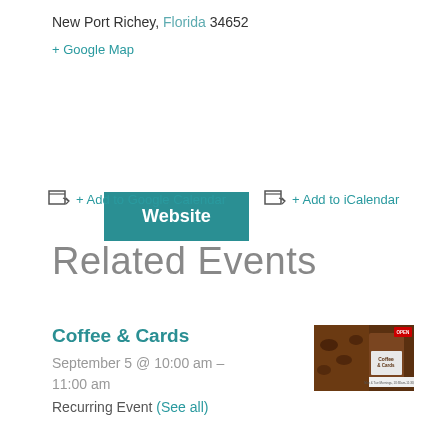New Port Richey, Florida 34652
+ Google Map
Website
+ Add to Google Calendar  + Add to iCalendar
Related Events
Coffee & Cards
September 5 @ 10:00 am – 11:00 am
Recurring Event (See all)
[Figure (photo): Coffee & Cards event thumbnail photo showing coffee and a sign reading Coffee & Cards with Mon & Tue Mornings 10:30am-11:30am text, with an OPEN sign visible]